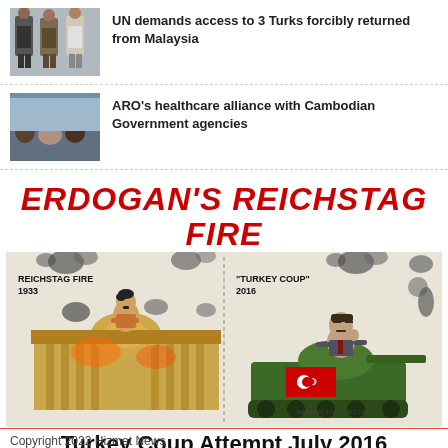[Figure (photo): Three men standing, appears to be Turkish nationals]
UN demands access to 3 Turks forcibly returned from Malaysia
[Figure (photo): People sitting on floor, appears to be Cambodian healthcare setting]
ARO's healthcare alliance with Cambodian Government agencies
[Figure (illustration): Political cartoon titled ERDOGAN'S REICHSTAG FIRE comparing Reichstag Fire 1933 and Turkey Coup 2016, with subtitle Turkey Coup Attempt July 2016]
Copyright 2022 Hizmet News